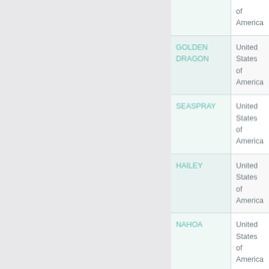| Vessel Name | Country |
| --- | --- |
|  | of America |
| GOLDEN DRAGON | United States of America |
| SEASPRAY | United States of America |
| HAILEY | United States of America |
| NAHOA | United States of America |
| LADY ANNIE | United |